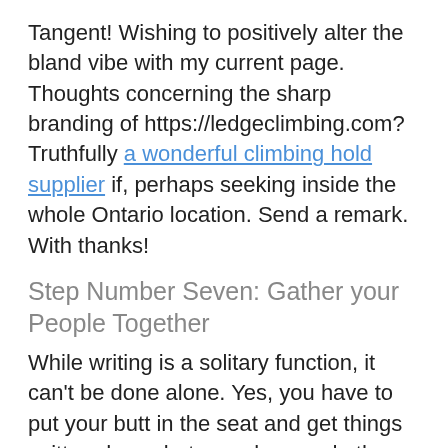Tangent! Wishing to positively alter the bland vibe with my current page. Thoughts concerning the sharp branding of https://ledgeclimbing.com? Truthfully a wonderful climbing hold supplier if, perhaps seeking inside the whole Ontario location. Send a remark. With thanks!
Step Number Seven: Gather your People Together
While writing is a solitary function, it can't be done alone. Yes, you have to put your butt in the seat and get things written down, but you also need others to help you in this journey. Here is a limited list on who you should target to help you grow your skills.
1. Editor: Yes, as much as you think you can go through and give your piece a decent shot, you can't do anything more than your skill level allows. It also means you might not know or be aware of a